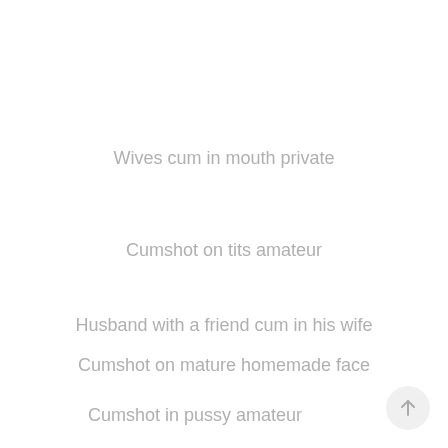Wives cum in mouth private
Cumshot on tits amateur
Husband with a friend cum in his wife
Cumshot on mature homemade face
Cumshot in pussy amateur